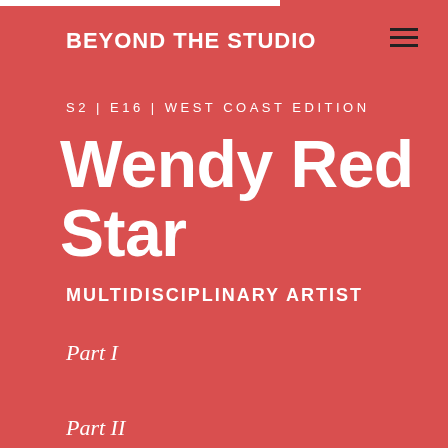BEYOND THE STUDIO
S2 | E16 | WEST COAST EDITION
Wendy Red Star
MULTIDISCIPLINARY ARTIST
Part I
Part II